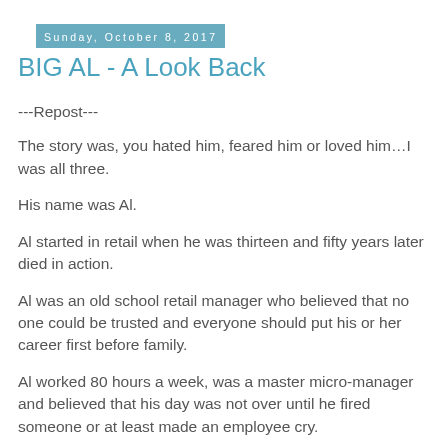Sunday, October 8, 2017
BIG AL - A Look Back
---Repost---
The story was, you hated him, feared him or loved him…I was all three.
His name was Al.
Al started in retail when he was thirteen and fifty years later died in action.
Al was an old school retail manager who believed that no one could be trusted and everyone should put his or her career first before family.
Al worked 80 hours a week, was a master micro-manager and believed that his day was not over until he fired someone or at least made an employee cry.